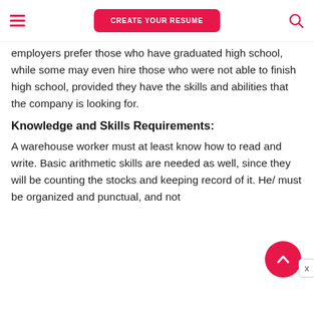CREATE YOUR RESUME
employers prefer those who have graduated high school, while some may even hire those who were not able to finish high school, provided they have the skills and abilities that the company is looking for.
Knowledge and Skills Requirements:
A warehouse worker must at least know how to read and write. Basic arithmetic skills are needed as well, since they will be counting the stocks and keeping record of it. He/ must be organized and punctual, and not